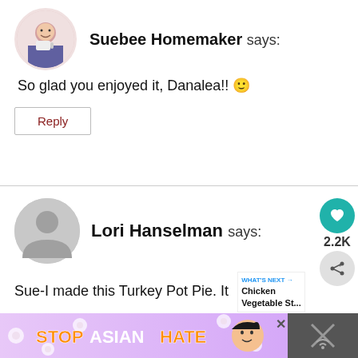[Figure (photo): Circular avatar of Suebee Homemaker - a woman holding a mug, smiling]
Suebee Homemaker says:
So glad you enjoyed it, Danalea!! 🙂
Reply
[Figure (illustration): Default grey circular avatar placeholder (no image) for Lori Hanselman]
Lori Hanselman says:
Sue-I made this Turkey Pot Pie. It & oh so delicious! (May I say pretty too!) My
[Figure (screenshot): Stop Asian Hate banner advertisement at the bottom of the page]